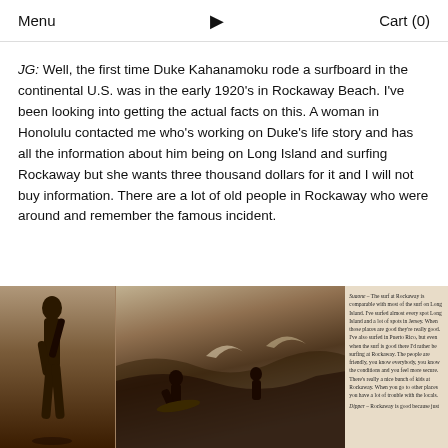Menu  ▶  Cart (0)
JG: Well, the first time Duke Kahanamoku rode a surfboard in the continental U.S. was in the early 1920's in Rockaway Beach. I've been looking into getting the actual facts on this. A woman in Honolulu contacted me who's working on Duke's life story and has all the information about him being on Long Island and surfing Rockaway but she wants three thousand dollars for it and I will not buy information. There are a lot of old people in Rockaway who were around and remember the famous incident.
[Figure (photo): Scanned magazine or book spread showing two black-and-white photos of beach/surf scenes with a woman on the left and surfers in the water on the right, alongside a text excerpt about Rockaway surf and locals.]